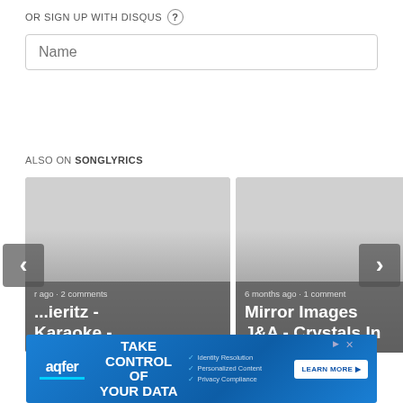OR SIGN UP WITH DISQUS ?
[Figure (screenshot): Name text input field with placeholder text 'Name']
ALSO ON SONGLYRICS
[Figure (screenshot): Content card showing partial title with text '...ieritz - Karaoke -' and metadata '...ago • 2 comments']
[Figure (screenshot): Content card showing 'Mirror Images J&A - Crystals In' with metadata '6 months ago • 1 comment']
[Figure (screenshot): Advertisement banner: TAKE CONTROL OF YOUR DATA by aqfer with Learn More button]